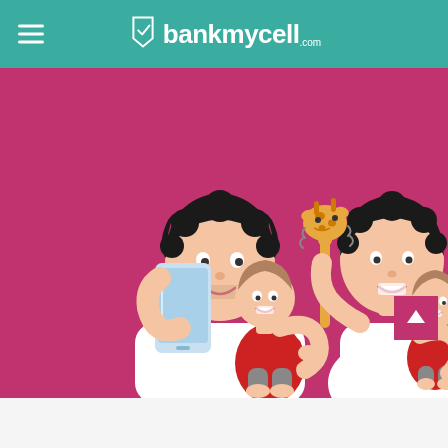bankmycell.com
[Figure (illustration): Cartoon illustration on a pink/magenta background showing two scenes side by side: left scene - a smiling man with curly dark hair holding a smartphone to his face while carrying a toddler in a red outfit; right scene - the same man holding a yellow giraffe rattle toy while carrying a baby in a red outfit. Both depict a parent multitasking between phone use and childcare.]